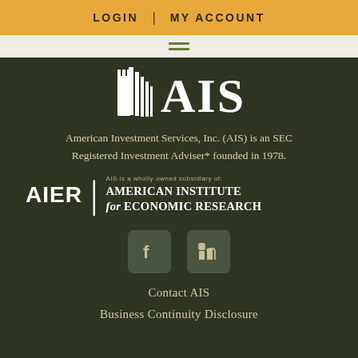LOGIN | MY ACCOUNT
[Figure (logo): AIS (American Investment Services, Inc.) logo with stylized tower/building icon and bold AIS text]
American Investment Services, Inc. (AIS) is an SEC Registered Investment Adviser* founded in 1978.
[Figure (logo): AIER | AMERICAN INSTITUTE for ECONOMIC RESEARCH logo with text 'AIS is a wholly-owned subsidiary of:']
[Figure (other): Facebook and LinkedIn social media icon buttons]
Contact AIS
Business Continuity Disclosure